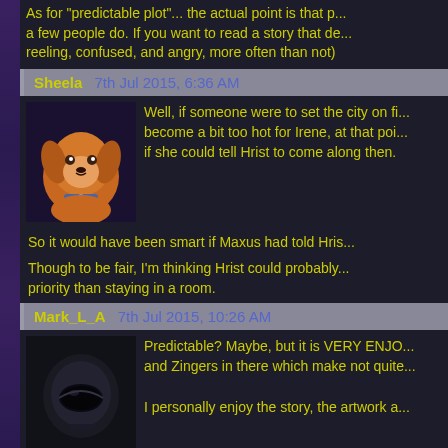As for "predictable plot"... the actual point is that p... a few people do. If you want to read a story that de... reeling, confused, and angry, more often than not)
Sheela   7th Jul 2015, 6:36 AM
Well, if someone were to set the city on fi... become a bit too hot for Irene, at that poi... if she could tell Hrist to come along then.
So it would have been smart if Maxus had told Hris...
Though to be fair, I'm thinking Hrist could probably... priority than staying in a room.
Mark_L_A   7th Jul 2015, 10:26 AM
Predictable? Maybe, but it is VERY ENJO... and Zingers in there which make not quite...
I personally enjoy the story, the artwork a...
So I give DataChasers AND Luna-Star each 10/10... Fan Fiction about the DataChasers/Luna-Star univ...
T1-G3R2501   7th Jul 2015, 11:06 AM
I'd want to see that, Hrist crawling on the floo...